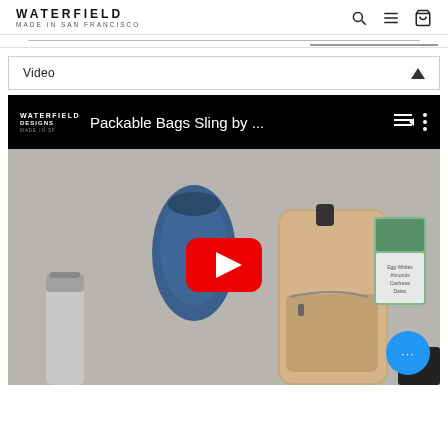WATERFIELD
MADE IN SAN FRANCISCO
Video
[Figure (screenshot): YouTube video embed showing 'Packable Bags Sling by ...' with Waterfield Designs branding on black top bar, and a video thumbnail of a tan sling bag surrounded by various items (blue pouch, protein bar box, water bottle, black battery), with a red YouTube play button overlay and a blue chat bubble in bottom-right corner.]